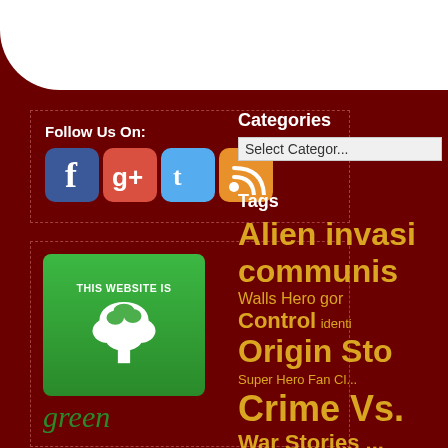[Figure (illustration): White rounded header area at top of page]
Follow Us On:
[Figure (illustration): Social media icons: Facebook (blue), Google+ (red), Twitter (light blue), RSS (orange)]
[Figure (logo): Green website badge with tree icon and the word 'green' in green italic text, with text 'THIS WEBSITE IS' at top]
Categories
Select Categor...
Tags
Alien invasi... communis... Walls Hero go... Control identi... Origin Sto... Super Hero Fan Cl... Crime Vs. ... War Stories ...